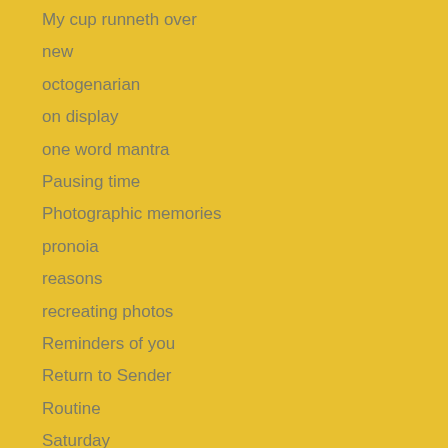My cup runneth over
new
octogenarian
on display
one word mantra
Pausing time
Photographic memories
pronoia
reasons
recreating photos
Reminders of you
Return to Sender
Routine
Saturday
Saturday afternoon